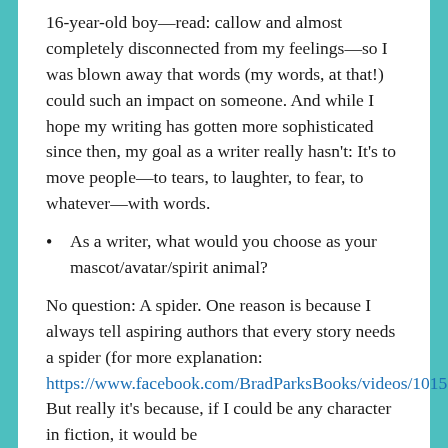16-year-old boy—read: callow and almost completely disconnected from my feelings—so I was blown away that words (my words, at that!) could such an impact on someone. And while I hope my writing has gotten more sophisticated since then, my goal as a writer really hasn't: It's to move people—to tears, to laughter, to fear, to whatever—with words.
As a writer, what would you choose as your mascot/avatar/spirit animal?
No question: A spider. One reason is because I always tell aspiring authors that every story needs a spider (for more explanation: https://www.facebook.com/BradParksBooks/videos/10156061255310629/). But really it's because, if I could be any character in fiction, it would be